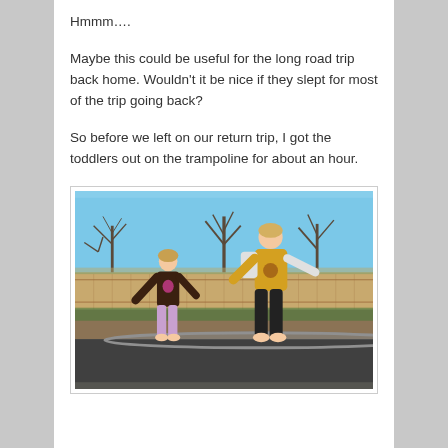Hmmm….
Maybe this could be useful for the long road trip back home. Wouldn't it be nice if they slept for most of the trip going back?
So before we left on our return trip, I got the toddlers out on the trampoline for about an hour.
[Figure (photo): Two toddlers jumping on a trampoline in a backyard. A girl in a brown long-sleeve shirt and purple pants on the left, and a boy in a yellow shirt and black pants on the right. Bare trees and a wooden fence visible in the background.]